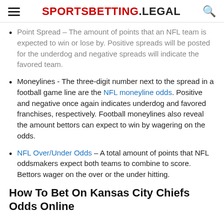SPORTSBETTING.LEGAL
Point Spread – The amount of points that an NFL team is expected to win or lose by. Positive spreads will be posted for the underdog and negative spreads will indicate the favored team.
Moneylines - The three-digit number next to the spread in a football game line are the NFL moneyline odds. Positive and negative once again indicates underdog and favored franchises, respectively. Football moneylines also reveal the amount bettors can expect to win by wagering on the odds.
NFL Over/Under Odds – A total amount of points that NFL oddsmakers expect both teams to combine to score. Bettors wager on the over or the under hitting.
How To Bet On Kansas City Chiefs Odds Online